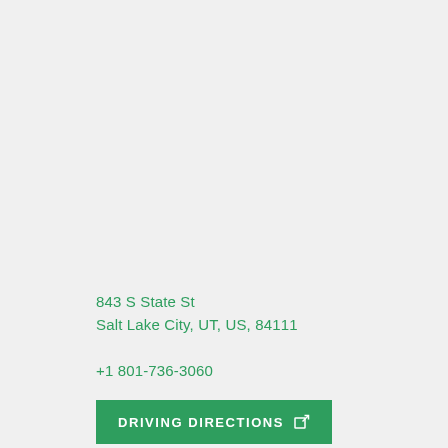843 S State St
Salt Lake City, UT, US, 84111
+1 801-736-3060
DRIVING DIRECTIONS